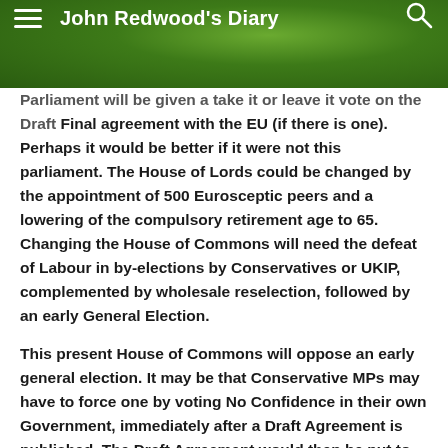John Redwood's Diary
Parliament will be given a take it or leave it vote on the Draft Final agreement with the EU (if there is one). Perhaps it would be better if it were not this parliament. The House of Lords could be changed by the appointment of 500 Eurosceptic peers and a lowering of the compulsory retirement age to 65. Changing the House of Commons will need the defeat of Labour in by-elections by Conservatives or UKIP, complemented by wholesale reselection, followed by an early General Election.
This present House of Commons will oppose an early general election. It may be that Conservative MPs may have to force one by voting No Confidence in their own Government, immediately after a Draft Agreement is published. The Draft Agreement would then be put to the new Commons.